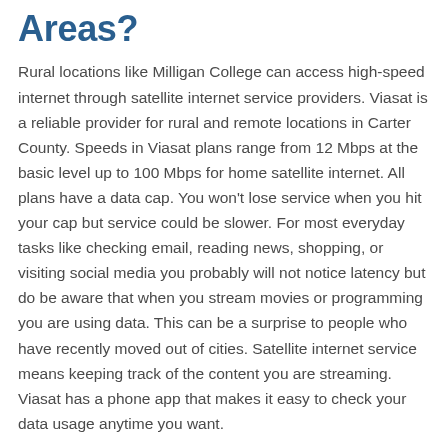Areas?
Rural locations like Milligan College can access high-speed internet through satellite internet service providers. Viasat is a reliable provider for rural and remote locations in Carter County. Speeds in Viasat plans range from 12 Mbps at the basic level up to 100 Mbps for home satellite internet. All plans have a data cap. You won't lose service when you hit your cap but service could be slower. For most everyday tasks like checking email, reading news, shopping, or visiting social media you probably will not notice latency but do be aware that when you stream movies or programming you are using data. This can be a surprise to people who have recently moved out of cities. Satellite internet service means keeping track of the content you are streaming. Viasat has a phone app that makes it easy to check your data usage anytime you want.
Rural Internet Providers in